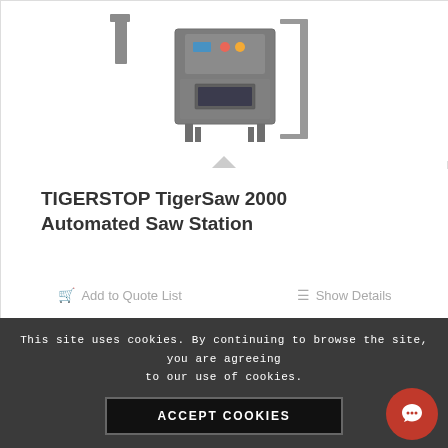[Figure (photo): Photo of TIGERSTOP TigerSaw 2000 Automated Saw Station industrial machine, grey metal cabinet on legs with control panel]
TIGERSTOP TigerSaw 2000 Automated Saw Station
Add to Quote List
Show Details
This site uses cookies. By continuing to browse the site, you are agreeing to our use of cookies.
ACCEPT COOKIES